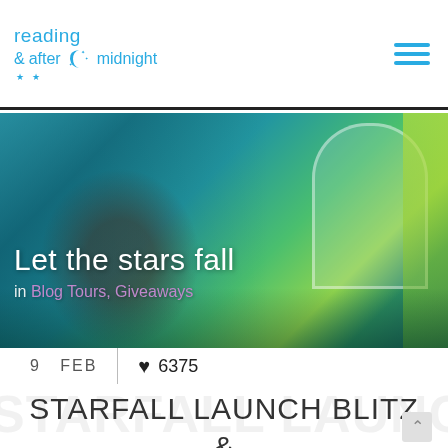reading after midnight
[Figure (photo): Hero banner image: blurred scene of a child reading in a colorful room with teal walls, yellow-green curtains, and an arched window. Text overlay reads 'Let the stars fall' and 'in Blog Tours, Giveaways']
Let the stars fall
in Blog Tours, Giveaways
9  FEB    ♥ 6375
STARFALL LAUNCH BLITZ & GIVEAWAY